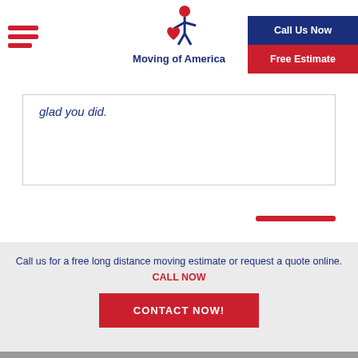Moving of America
glad you did.
Call us for a free long distance moving estimate or request a quote online. CALL NOW
CONTACT NOW!